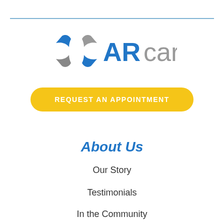[Figure (logo): ARcare logo with blue and gray star/arrow icon and text 'ARcare' in blue and gray]
REQUEST AN APPOINTMENT
About Us
Our Story
Testimonials
In the Community